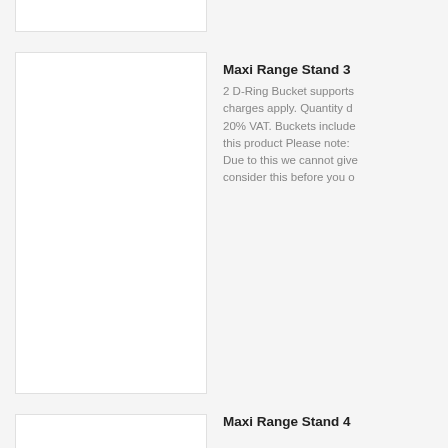[Figure (photo): Product image placeholder for first product (partially visible at top)]
[Figure (photo): Product image placeholder for Maxi Range Stand 3]
Maxi Range Stand 3
2 D-Ring Bucket supports charges apply. Quantity d 20% VAT. Buckets include this product Please note: Due to this we cannot give consider this before you o
[Figure (photo): Product image placeholder for Maxi Range Stand 4 (partially visible at bottom)]
Maxi Range Stand 4